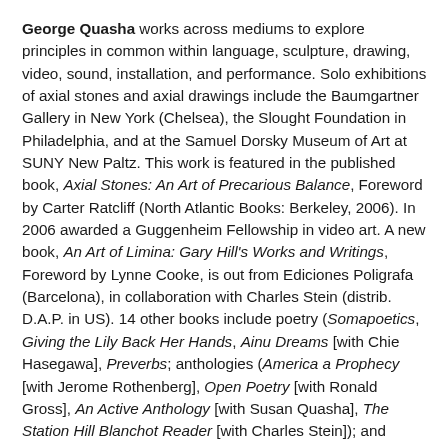George Quasha works across mediums to explore principles in common within language, sculpture, drawing, video, sound, installation, and performance. Solo exhibitions of axial stones and axial drawings include the Baumgartner Gallery in New York (Chelsea), the Slought Foundation in Philadelphia, and at the Samuel Dorsky Museum of Art at SUNY New Paltz. This work is featured in the published book, Axial Stones: An Art of Precarious Balance, Foreword by Carter Ratcliff (North Atlantic Books: Berkeley, 2006). In 2006 awarded a Guggenheim Fellowship in video art. A new book, An Art of Limina: Gary Hill's Works and Writings, Foreword by Lynne Cooke, is out from Ediciones Poligrafa (Barcelona), in collaboration with Charles Stein (distrib. D.A.P. in US). 14 other books include poetry (Somapoetics, Giving the Lily Back Her Hands, Ainu Dreams [with Chie Hasegawa], Preverbs; anthologies (America a Prophecy [with Jerome Rothenberg], Open Poetry [with Ronald Gross], An Active Anthology [with Susan Quasha], The Station Hill Blanchot Reader [with Charles Stein]); and writing on art (Gary Hill: Language Willing; with Charles Stein: Tall Ships, HanD HearD/liminal objects, Viewer).